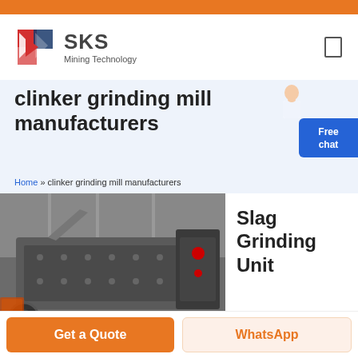[Figure (logo): SKS Mining Technology logo with red and blue angular icon and company name]
clinker grinding mill manufacturers
Home » clinker grinding mill manufacturers
[Figure (photo): Industrial slag grinding mill / hammer crusher machine in a factory setting, large grey metal equipment]
Slag Grinding Unit
Get a Quote
WhatsApp